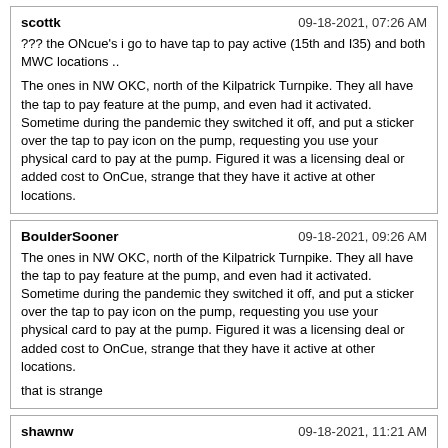scottk | 09-18-2021, 07:26 AM
??? the ONcue's i go to have tap to pay active (15th and I35) and both MWC locations ..

The ones in NW OKC, north of the Kilpatrick Turnpike. They all have the tap to pay feature at the pump, and even had it activated. Sometime during the pandemic they switched it off, and put a sticker over the tap to pay icon on the pump, requesting you use your physical card to pay at the pump. Figured it was a licensing deal or added cost to OnCue, strange that they have it active at other locations.
BoulderSooner | 09-18-2021, 09:26 AM
The ones in NW OKC, north of the Kilpatrick Turnpike. They all have the tap to pay feature at the pump, and even had it activated. Sometime during the pandemic they switched it off, and put a sticker over the tap to pay icon on the pump, requesting you use your physical card to pay at the pump. Figured it was a licensing deal or added cost to OnCue, strange that they have it active at other locations.

that is strange
shawnw | 09-18-2021, 11:21 AM
Speaking of strange, noticed that there are bike racks at the Hefner/May location but not at the 39/Portland or NW Exp/Wilshire locations when those are both right on the trail.
kallio | 09-23-2021, 04:35 PM
Regarding germs on the touchscreens ... are there more